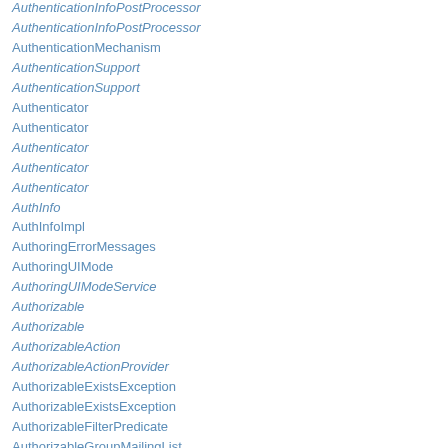AuthenticationInfoPostProcessor
AuthenticationInfoPostProcessor
AuthenticationMechanism
AuthenticationSupport
AuthenticationSupport
Authenticator
Authenticator
Authenticator
Authenticator
Authenticator
AuthInfo
AuthInfoImpl
AuthoringErrorMessages
AuthoringUIMode
AuthoringUIModeService
Authorizable
Authorizable
AuthorizableAction
AuthorizableActionProvider
AuthorizableExistsException
AuthorizableExistsException
AuthorizableFilterPredicate
AuthorizableGroupMailingList
AuthorizableJSONWriter
AuthorizableJSONWriter
AuthorizableMailingList
AuthorizableNodeName
AuthorizableNodeName.Default
AuthorizablePredicate